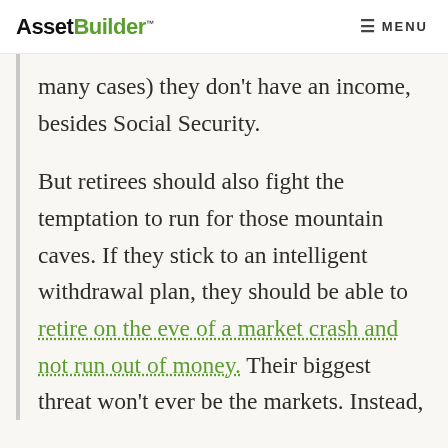AssetBuilder™  MENU
many cases) they don't have an income, besides Social Security.
But retirees should also fight the temptation to run for those mountain caves. If they stick to an intelligent withdrawal plan, they should be able to retire on the eve of a market crash and not run out of money. Their biggest threat won't ever be the markets. Instead,